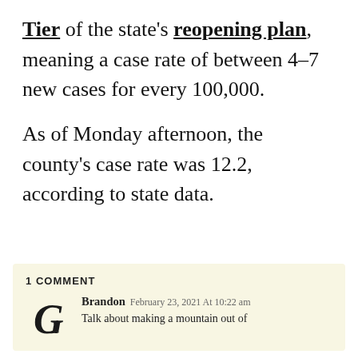Tier of the state's reopening plan, meaning a case rate of between 4–7 new cases for every 100,000.
As of Monday afternoon, the county's case rate was 12.2, according to state data.
1 COMMENT
Brandon February 23, 2021 At 10:22 am — Talk about making a mountain out of